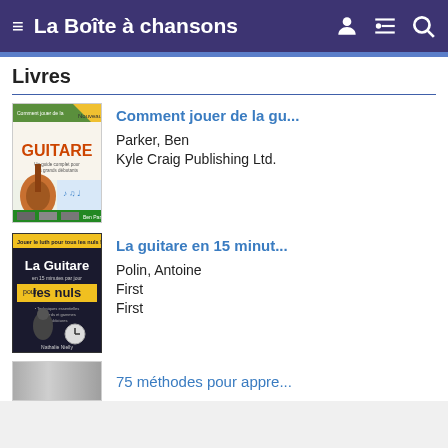La Boîte à chansons
Livres
[Figure (illustration): Book cover: Comment jouer de la guitare, guitar illustration]
Comment jouer de la gu...
Parker, Ben
Kyle Craig Publishing Ltd.
[Figure (illustration): Book cover: La guitare en 15 minutes par jour pour les nuls]
La guitare en 15 minut...
Polin, Antoine
First
First
75 méthodes pour appre...